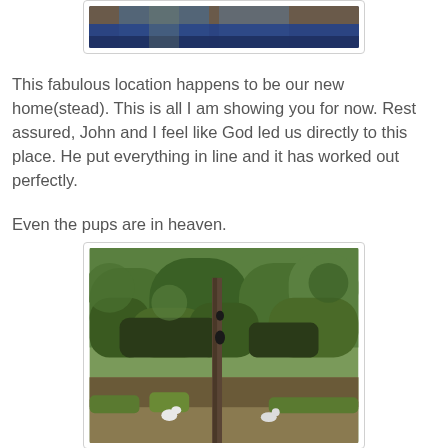[Figure (photo): Partial photo at top showing denim jeans and boots/shoes, cropped]
This fabulous location happens to be our new home(stead). This is all I am showing you for now. Rest assured, John and I feel like God led us directly to this place. He put everything in line and it has worked out perfectly.

Even the pups are in heaven.
[Figure (photo): Outdoor woodland/forest scene with green foliage, a tall thin tree trunk in foreground, and two small white dogs visible in the lower portion of the image]